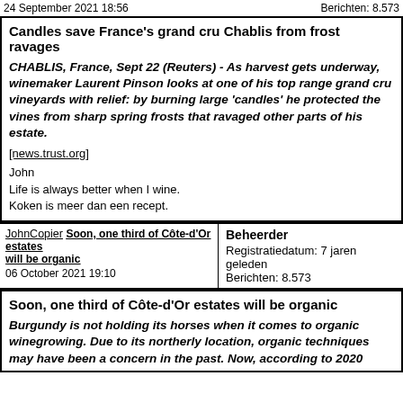24 September 2021 18:56    Berichten: 8.573
Candles save France's grand cru Chablis from frost ravages
CHABLIS, France, Sept 22 (Reuters) - As harvest gets underway, winemaker Laurent Pinson looks at one of his top range grand cru vineyards with relief: by burning large 'candles' he protected the vines from sharp spring frosts that ravaged other parts of his estate.
[news.trust.org]
John
Life is always better when I wine.
Koken is meer dan een recept.
JohnCopier
Soon, one third of Côte-d'Or estates will be organic
06 October 2021 19:10
Beheerder
Registratiedatum: 7 jaren geleden
Berichten: 8.573
Soon, one third of Côte-d'Or estates will be organic
Burgundy is not holding its horses when it comes to organic winegrowing. Due to its northerly location, organic techniques may have been a concern in the past. Now, according to 2020